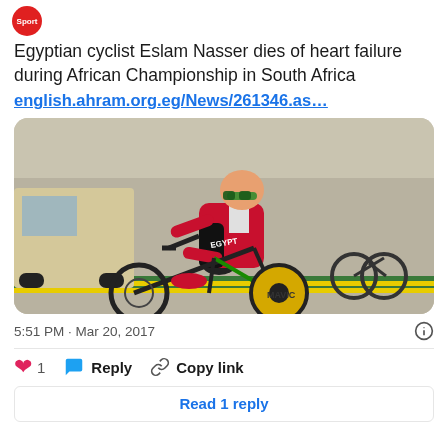[Figure (logo): Red circular sports badge icon with 'Sport' text]
Egyptian cyclist Eslam Nasser dies of heart failure during African Championship in South Africa
english.ahram.org.eg/News/261346.as...
[Figure (photo): Photo of Egyptian cyclist Eslam Nasser riding a road bike in Egypt national team kit (red long-sleeve jersey with EGYPT text, black shorts), wearing sunglasses, leaning forward on bike. A second bicycle and a vehicle are visible in background, with road/kerb visible.]
5:51 PM · Mar 20, 2017
❤ 1  Reply  Copy link
Read 1 reply